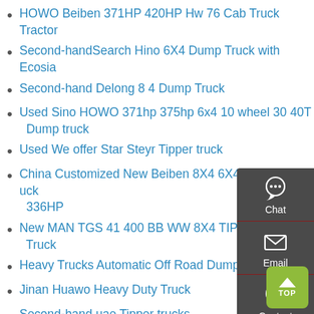HOWO Beiben 371HP 420HP Hw 76 Cab Truck Tractor
Second-handSearch Hino 6X4 Dump Truck with Ecosia
Second-hand Delong 8 4 Dump Truck
Used Sino HOWO 371hp 375hp 6x4 10 wheel 30 40T Dump truck
Used We offer Star Steyr Tipper truck
China Customized New Beiben 8X4 6X4 Tractor Truck 336HP
New MAN TGS 41 400 BB WW 8X4 TIPPER TRUCK Truck
Heavy Trucks Automatic Off Road Dump Truck Buy
Jinan Huawo Heavy Duty Truck
Second-hand uae Tipper trucks
HYUNDAI HD270 dump truck for sale used HYUNDAI HD270
New tractor units MERCEDES-BENZ Axor 1824 sale Truck1